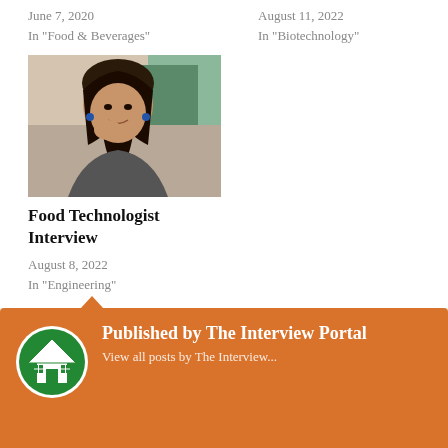June 7, 2020
In "Food & Beverages"
August 11, 2022
In "Biotechnology"
[Figure (photo): Portrait photo of a young woman smiling, with office background]
Food Technologist Interview
August 8, 2022
In "Engineering"
BIOTECH
CADBURYS
CHOCOLATE
GATE
ICT
JUICE
MONDELEZ
PEPSICO
SNACKS
UDCT
Published by The Interview Portal
View all posts by The Interview...